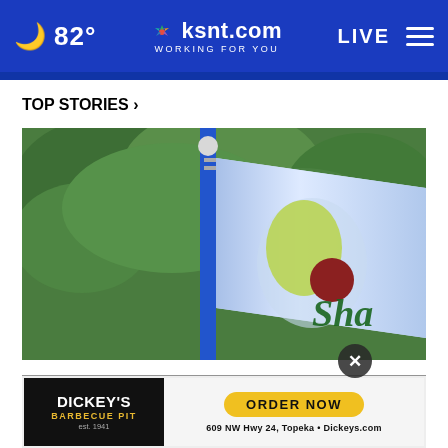🌙 82° | ksnt.com WORKING FOR YOU | LIVE
TOP STORIES ›
[Figure (photo): Close-up photograph of a blue flagpole with a flag bearing the 'Shaw' logo/text visible, set against a background of green trees.]
Sha... tou...
DICKEY'S BARBECUE PIT | ORDER NOW | 609 NW Hwy 24, Topeka • Dickeys.com